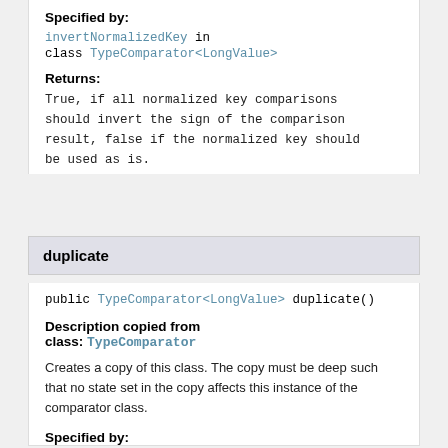Specified by:
invertNormalizedKey in class TypeComparator<LongValue>
Returns:
True, if all normalized key comparisons should invert the sign of the comparison result, false if the normalized key should be used as is.
duplicate
public TypeComparator<LongValue> duplicate()
Description copied from class: TypeComparator
Creates a copy of this class. The copy must be deep such that no state set in the copy affects this instance of the comparator class.
Specified by: